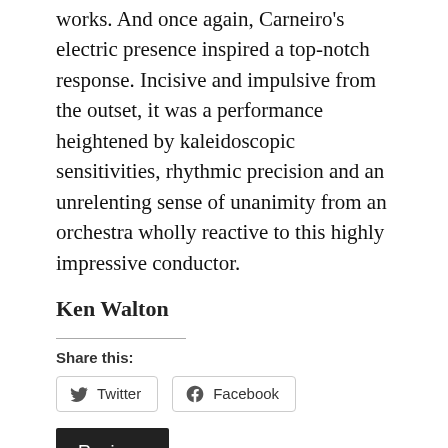works. And once again, Carneiro's electric presence inspired a top-notch response. Incisive and impulsive from the outset, it was a performance heightened by kaleidoscopic sensitivities, rhythmic precision and an unrelenting sense of unanimity from an orchestra wholly reactive to this highly impressive conductor.
Ken Walton
Share this:
[Figure (other): Social sharing buttons for Twitter and Facebook]
Reviews
SCO / EMELYANYCHEV